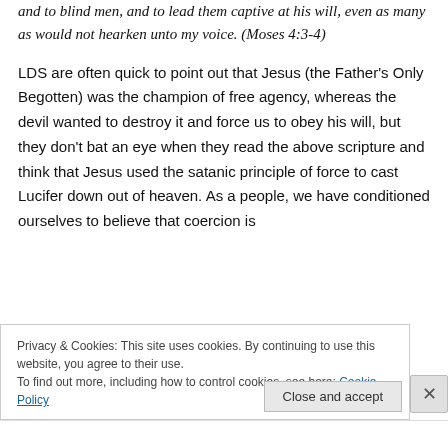and to blind men, and to lead them captive at his will, even as many as would not hearken unto my voice. (Moses 4:3-4)
LDS are often quick to point out that Jesus (the Father's Only Begotten) was the champion of free agency, whereas the devil wanted to destroy it and force us to obey his will, but they don't bat an eye when they read the above scripture and think that Jesus used the satanic principle of force to cast Lucifer down out of heaven. As a people, we have conditioned ourselves to believe that coercion is
Privacy & Cookies: This site uses cookies. By continuing to use this website, you agree to their use.
To find out more, including how to control cookies, see here: Cookie Policy
Close and accept